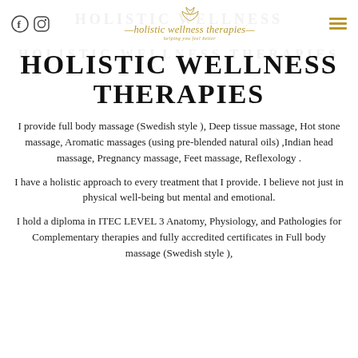holistic wellness therapies – helping you feel better
HOLISTIC WELLNESS THERAPIES
I provide full body massage (Swedish style ), Deep tissue massage, Hot stone massage, Aromatic massages (using pre-blended natural oils) ,Indian head massage, Pregnancy massage, Feet massage, Reflexology .
I have a holistic approach to every treatment that I provide. I believe not just in physical well-being but mental and emotional.
I hold a diploma in ITEC LEVEL 3 Anatomy, Physiology, and Pathologies for Complementary therapies and fully accredited certificates in Full body massage (Swedish style ),